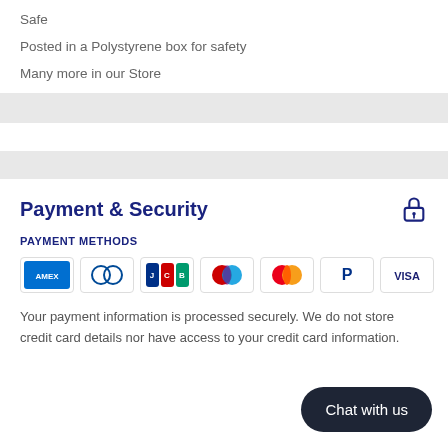Safe
Posted in a Polystyrene box for safety
Many more in our Store
Payment & Security
PAYMENT METHODS
[Figure (infographic): Payment method logos: American Express, Diners Club, JCB, Maestro, Mastercard, PayPal, Visa]
Your payment information is processed securely. We do not store credit card details nor have access to your credit card information.